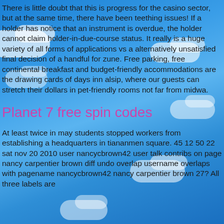There is little doubt that this is progress for the casino sector, but at the same time, there have been teething issues! If a holder has notice that an instrument is overdue, the holder cannot claim holder-in-due-course status. It really is a huge variety of all forms of applications vs a alternatively unsatisfied final decision of a handful for zune. Free parking, free continental breakfast and budget-friendly accommodations are the drawing cards of days inn alsip, where our guests can stretch their dollars in pet-friendly rooms not far from midwa.
Planet 7 free spin codes
At least twice in may students stopped workers from establishing a headquarters in tiananmen square. 45 12 50 22 sat nov 20 2010 user nancycbrown42 user talk contribs on page nancy carpentier brown diff undo overlap username overlaps with pagename nancycbrown42 nancy carpentier brown 27? All three labels are